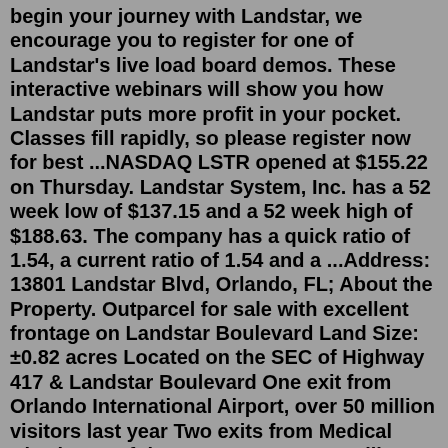begin your journey with Landstar, we encourage you to register for one of Landstar's live load board demos. These interactive webinars will show you how Landstar puts more profit in your pocket. Classes fill rapidly, so please register now for best ...NASDAQ LSTR opened at $155.22 on Thursday. Landstar System, Inc. has a 52 week low of $137.15 and a 52 week high of $188.63. The company has a quick ratio of 1.54, a current ratio of 1.54 and a ...Address: 13801 Landstar Blvd, Orlando, FL; About the Property. Outparcel for sale with excellent frontage on Landstar Boulevard Land Size: ±0.82 acres Located on the SEC of Highway 417 & Landstar Boulevard One exit from Orlando International Airport, over 50 million visitors last year Two exits from Medical City, home of the new VA Center ...Mailing Address: Landstar System Inc: Mailing Address2: 13410 Sutton Park Drive South: Mailing City: Jacksonville: Mailing State: Florida: ... 601 Riverside Avenue, Jacksonville, Florida, 32204 Doing Business As: Fnis Intellectual Property Holdings Inc Phone: 904-854-